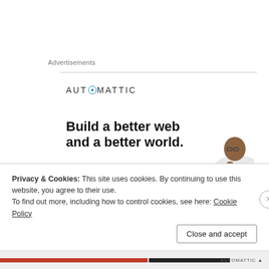Advertisements
[Figure (infographic): Automattic advertisement banner with logo, headline 'Build a better web and a better world.', Apply button, and photo of a person]
Privacy & Cookies: This site uses cookies. By continuing to use this website, you agree to their use. To find out more, including how to control cookies, see here: Cookie Policy
Close and accept